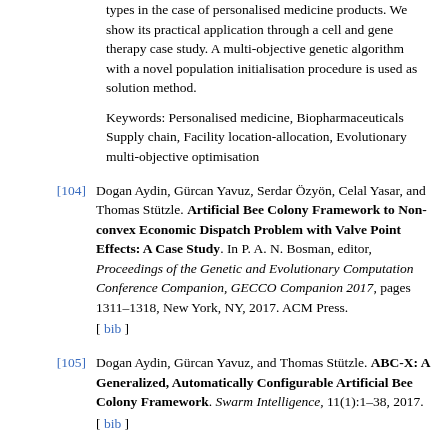types in the case of personalised medicine products. We show its practical application through a cell and gene therapy case study. A multi-objective genetic algorithm with a novel population initialisation procedure is used as solution method.
Keywords: Personalised medicine, Biopharmaceuticals Supply chain, Facility location-allocation, Evolutionary multi-objective optimisation
[104] Dogan Aydin, Gürcan Yavuz, Serdar Özyön, Celal Yasar, and Thomas Stützle. Artificial Bee Colony Framework to Non-convex Economic Dispatch Problem with Valve Point Effects: A Case Study. In P. A. N. Bosman, editor, Proceedings of the Genetic and Evolutionary Computation Conference Companion, GECCO Companion 2017, pages 1311–1318, New York, NY, 2017. ACM Press. [ bib ]
[105] Dogan Aydin, Gürcan Yavuz, and Thomas Stützle. ABC-X: A Generalized, Automatically Configurable Artificial Bee Colony Framework. Swarm Intelligence, 11(1):1–38, 2017. [ bib ]
[106] Mayowa Ayodele, Richard Allmendinger, Manuel López-